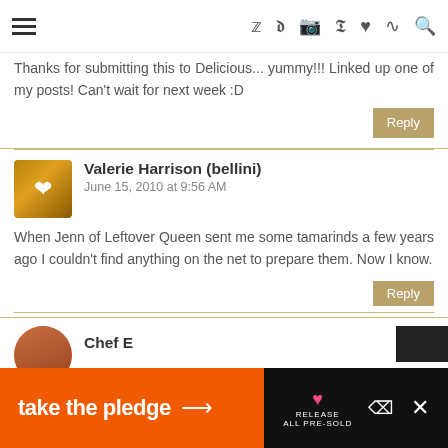Navigation header with hamburger menu and social icons (twitter, facebook, instagram, pinterest, heart, rss, search)
Thanks for submitting this to Delicious... yummy!!! Linked up one of my posts! Can't wait for next week :D
Reply
Valerie Harrison (bellini)
June 15, 2010 at 9:56 AM
When Jenn of Leftover Queen sent me some tamarinds a few years ago I couldn't find anything on the net to prepare them. Now I know.
Reply
Chef E
[Figure (infographic): take the pledge advertisement banner with orange background, arrow, Release logo, and close button]